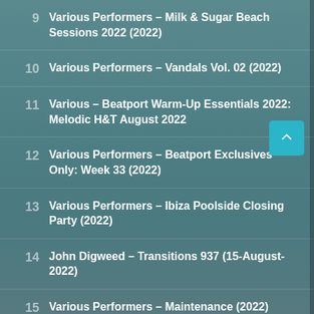9  Various Performers – Milk & Sugar Beach Sessions 2022 (2022)
10  Various Performers – Vandals Vol. 02 (2022)
11  Various – Beatport Warm-Up Essentials 2022: Melodic H&T August 2022
12  Various Performers – Beatport Exclusives Only: Week 33 (2022)
13  Various Performers – Ibiza Poolside Closing Party (2022)
14  John Digweed – Transitions 937 (15-August-2022)
15  Various Performers – Maintenance (2022)